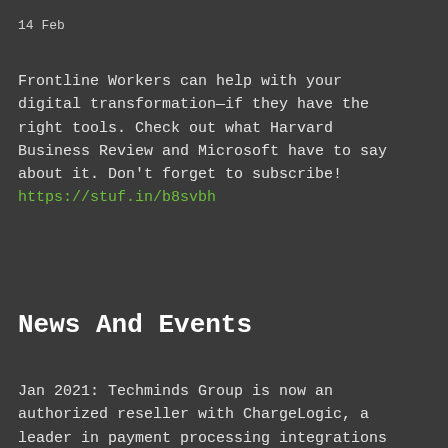14 Feb
Frontline Workers can help with your digital transformation—if they have the right tools. Check out what Harvard Business Review and Microsoft have to say about it. Don't forget to subscribe! https://stuf.in/b8svbh
News And Events
Jan 2021: Techminds Group is now an authorized reseller with ChargeLogic, a leader in payment processing integrations for ERP solutions. April 2020: Techminds proudly launched its autotax offering